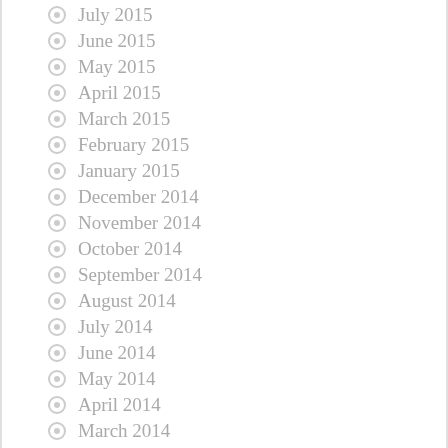July 2015
June 2015
May 2015
April 2015
March 2015
February 2015
January 2015
December 2014
November 2014
October 2014
September 2014
August 2014
July 2014
June 2014
May 2014
April 2014
March 2014